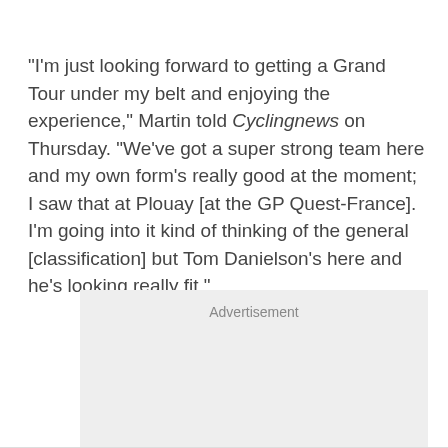"I'm just looking forward to getting a Grand Tour under my belt and enjoying the experience," Martin told Cyclingnews on Thursday. "We've got a super strong team here and my own form's really good at the moment; I saw that at Plouay [at the GP Quest-France]. I'm going into it kind of thinking of the general [classification] but Tom Danielson's here and he's looking really fit."
[Figure (other): Advertisement placeholder box with light grey background and 'Advertisement' label]